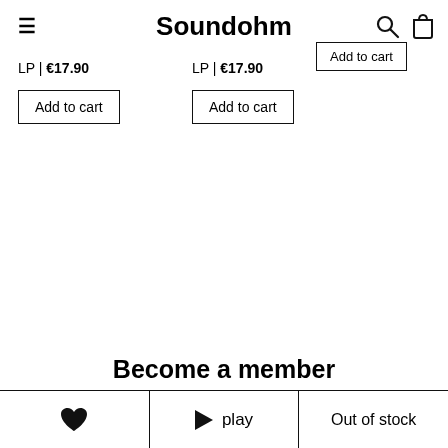Soundohm
LP | €17.90
LP | €17.90
Add to cart
Add to cart
Add to cart
Become a member
❤  ▶ play  Out of stock